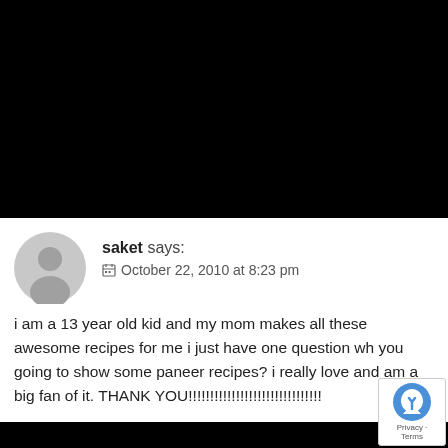[Figure (other): Black rectangle filling top portion of image]
saket says:
October 22, 2010 at 8:23 pm
i am a 13 year old kid and my mom makes all these awesome recipes for me i just have one question wh you going to show some paneer recipes? i really love and am a big fan of it. THANK YOU!!!!!!!!!!!!!!!!!!!!!!!!!!!!!!!